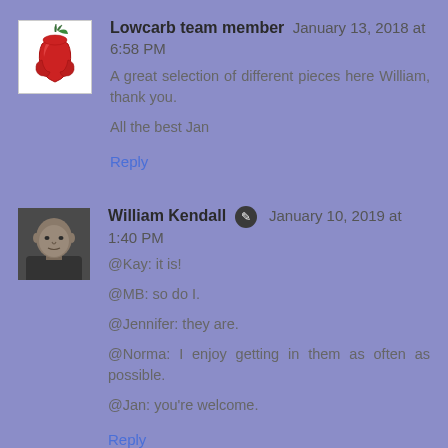[Figure (photo): Red bell pepper avatar icon on white background]
Lowcarb team member January 13, 2018 at 6:58 PM
A great selection of different pieces here William, thank you.

All the best Jan
Reply
[Figure (photo): Profile photo of a bald man]
William Kendall [edit icon] January 10, 2019 at 1:40 PM
@Kay: it is!

@MB: so do I.

@Jennifer: they are.

@Norma: I enjoy getting in them as often as possible.

@Jan: you're welcome.
Reply